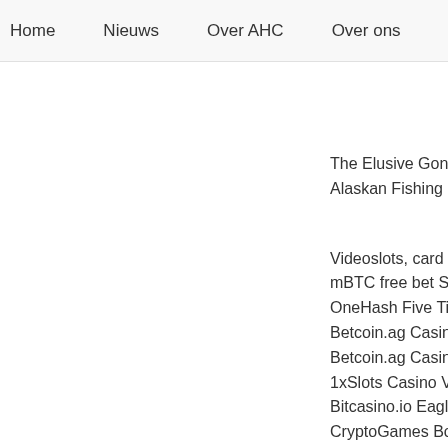Home   Nieuws   Over AHC   Over ons   Onze kind
The Elusive Gonzale
Alaskan Fishing - 33
Videoslots, card and
mBTC free bet Spell
OneHash Five Times
Betcoin.ag Casino H
Betcoin.ag Casino M
1xSlots Casino Vega
Bitcasino.io Eagle Bu
CryptoGames Book o
BetChain Casino Atla
Bspin.io Casino Elve
Playamo Casino Luc
Betcoin.ag Casino Th
BitStarz Casino Fa F